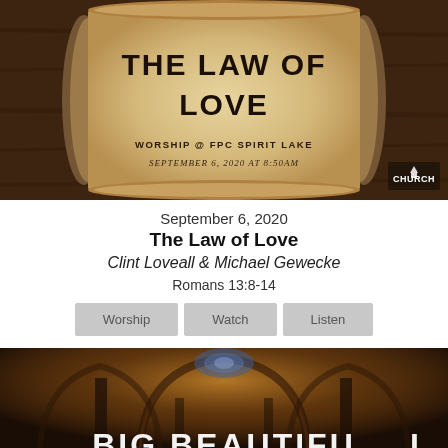[Figure (photo): Scroll/parchment image with bold text 'THE LAW OF LOVE', subtitle 'WORSHIP @ FPC SPIRIT LAKE', date 'SEPTEMBER 6, 2020 AT 8:50AM', and small church logo in bottom right corner. Background is dark wood.]
September 6, 2020
The Law of Love
Clint Loveall & Michael Gewecke
Romans 13:8-14
[Figure (other): Three buttons labeled 'Worship', 'Watch', 'Listen' with gray background]
[Figure (photo): Cathedral interior with gothic arches, warm amber lighting, and partial text 'BIG BEAUTIEUL' visible at the bottom in large white letters.]